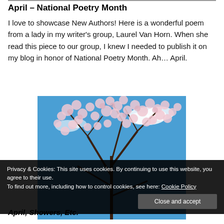April – National Poetry Month
I love to showcase New Authors! Here is a wonderful poem from a lady in my writer's group, Laurel Van Horn. When she read this piece to our group, I knew I needed to publish it on my blog in honor of National Poetry Month. Ah… April.
[Figure (photo): Cherry blossom tree branches with pink flowers against a blue sky with white clouds.]
Privacy & Cookies: This site uses cookies. By continuing to use this website, you agree to their use. To find out more, including how to control cookies, see here: Cookie Policy
April, Showers, Etc.